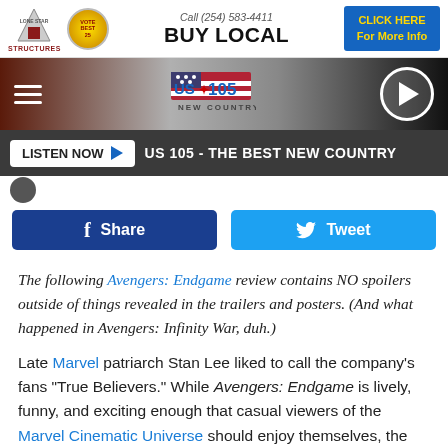[Figure (infographic): Advertisement banner: Lone Star Structures logo, Vote Best 25 badge, Call (254) 583-4411, BUY LOCAL text, and CLICK HERE For More Info blue button]
[Figure (infographic): US 105 New Country radio station navigation bar with hamburger menu, US 105 flag logo, and play button]
[Figure (infographic): Dark bar with LISTEN NOW button and US 105 - THE BEST NEW COUNTRY text]
[Figure (infographic): Facebook Share and Twitter Tweet social sharing buttons]
The following Avengers: Endgame review contains NO spoilers outside of things revealed in the trailers and posters. (And what happened in Avengers: Infinity War, duh.)
Late Marvel patriarch Stan Lee liked to call the company's fans "True Believers." While Avengers: Endgame is lively, funny, and exciting enough that casual viewers of the Marvel Cinematic Universe should enjoy themselves, the movie is clearly aimed at those who live up to Stan's nickname: the